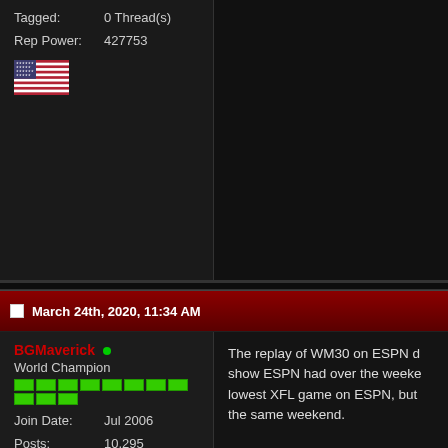Tagged: 0 Thread(s)
Rep Power: 427753
[Figure (illustration): US flag emoji/icon]
March 24th, 2020, 11:34 AM
BGMaverick
World Champion
Join Date: Jul 2006
Posts: 10,295
Mentioned: 113 Post(s)
Tagged: 0 Thread(s)
Rep Power: 1050115
The replay of WM30 on ESPN d show ESPN had over the weeke lowest XFL game on ESPN, but the same weekend.
March 31st, 2020, 12:45 PM
BGMaverick
World Champion
The replay of WM32 on ESPN d